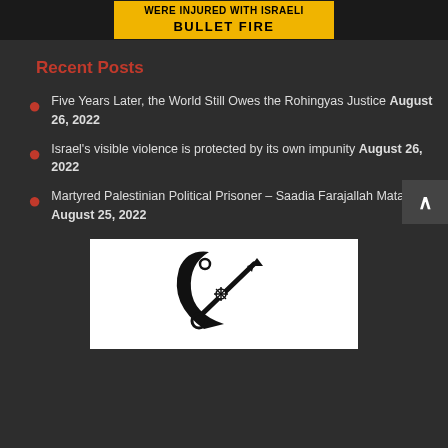[Figure (infographic): Yellow banner with text 'WERE INJURED WITH ISRAELI BULLET FIRE' on dark background]
Recent Posts
Five Years Later, the World Still Owes the Rohingyas Justice August 26, 2022
Israel's visible violence is protected by its own impunity August 26, 2022
Martyred Palestinian Political Prisoner – Saadia Farajallah Matar August 25, 2022
[Figure (logo): Black and white logo with stylized crescent and rifle/pen graphic on white background]